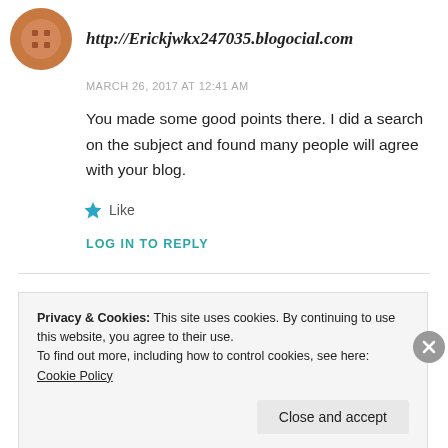http://Erickjwkx247035.blogocial.com
MARCH 26, 2017 AT 12:41 AM
You made some good points there. I did a search on the subject and found many people will agree with your blog.
★ Like
LOG IN TO REPLY
Privacy & Cookies: This site uses cookies. By continuing to use this website, you agree to their use.
To find out more, including how to control cookies, see here: Cookie Policy
Close and accept